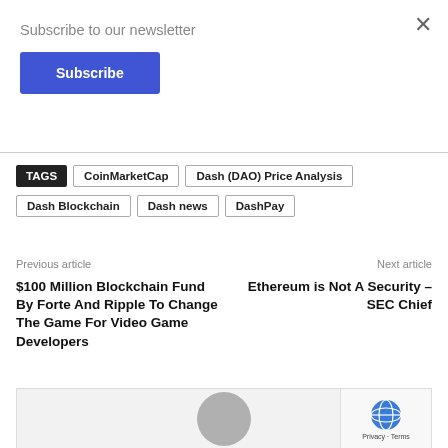Subscribe to our newsletter
Subscribe
TAGS  CoinMarketCap  Dash (DAO) Price Analysis  Dash Blockchain  Dash news  DashPay
Previous article
$100 Million Blockchain Fund By Forte And Ripple To Change The Game For Video Game Developers
Next article
Ethereum is Not A Security – SEC Chief
[Figure (photo): Avatar placeholder image with grey circle on grey background, with a privacy/reCAPTCHA badge in the bottom right corner]